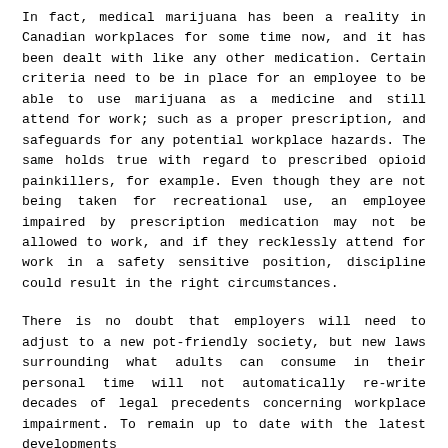In fact, medical marijuana has been a reality in Canadian workplaces for some time now, and it has been dealt with like any other medication. Certain criteria need to be in place for an employee to be able to use marijuana as a medicine and still attend for work; such as a proper prescription, and safeguards for any potential workplace hazards. The same holds true with regard to prescribed opioid painkillers, for example. Even though they are not being taken for recreational use, an employee impaired by prescription medication may not be allowed to work, and if they recklessly attend for work in a safety sensitive position, discipline could result in the right circumstances.
There is no doubt that employers will need to adjust to a new pot-friendly society, but new laws surrounding what adults can consume in their personal time will not automatically re-write decades of legal precedents concerning workplace impairment. To remain up to date with the latest developments